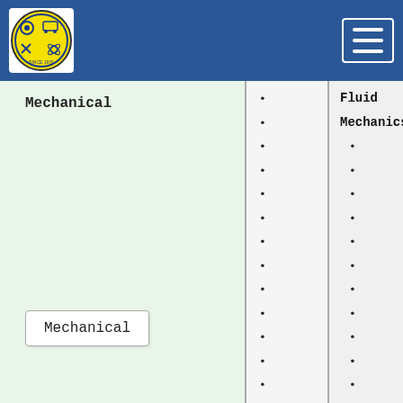[Figure (logo): College logo - circular yellow badge with symbols]
[Figure (other): Navigation hamburger menu icon]
Fluid Mechanics
bullet
bullet
bullet
bullet
bullet
bullet
bullet
bullet
bullet
bullet
bullet
bullet
bullet
bullet
bullet
bullet
bullet
bullet
Mechanical
Applied Thermodynamics
bullet
bullet